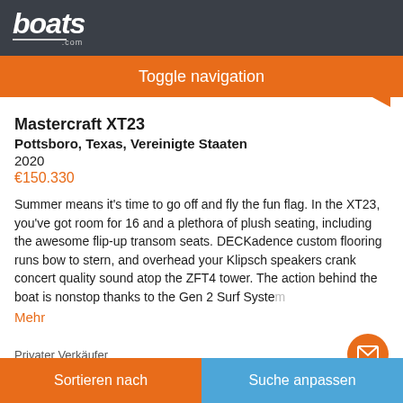boats.com
Toggle navigation
Mastercraft XT23
Pottsboro, Texas, Vereinigte Staaten
2020
€150.330
Summer means it's time to go off and fly the fun flag. In the XT23, you've got room for 16 and a plethora of plush seating, including the awesome flip-up transom seats. DECKadence custom flooring runs bow to stern, and overhead your Klipsch speakers crank concert quality sound atop the ZFT4 tower. The action behind the boat is nonstop thanks to the Gen 2 Surf System
Mehr
Privater Verkäufer
Sortieren nach | Suche anpassen